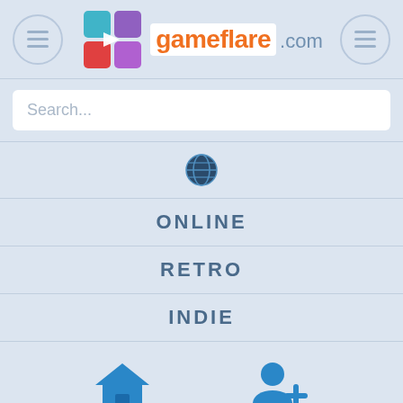[Figure (screenshot): Gameflare.com website header with logo, hamburger menu buttons, search bar, navigation menu items (ONLINE, RETRO, INDIE), home and user-plus icons, and game thumbnails at bottom]
Search...
ONLINE
RETRO
INDIE
87%  2.5m plays
87%  2.4m plays